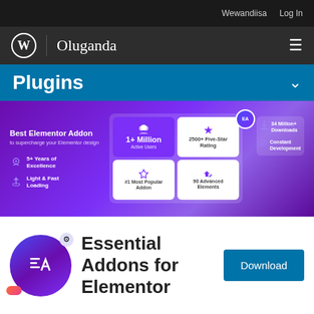Wewandiisa  Log In
Oluganda
Plugins
[Figure (screenshot): Essential Addons for Elementor plugin banner showing stats: 1+ Million Active Users, 2500+ Five-Star Rating, #1 Most Popular Addon, 90 Advanced Elements, 34 Million+ Downloads, Constant Development, 5+ Years of Excellence, Light & Fast Loading]
[Figure (logo): Essential Addons for Elementor circular logo with EA monogram in purple/blue gradient]
Essential Addons for Elementor
Download